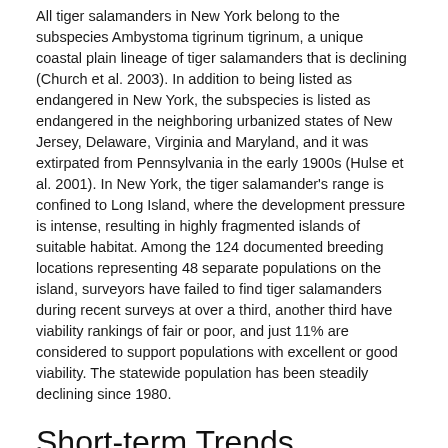All tiger salamanders in New York belong to the subspecies Ambystoma tigrinum tigrinum, a unique coastal plain lineage of tiger salamanders that is declining (Church et al. 2003). In addition to being listed as endangered in New York, the subspecies is listed as endangered in the neighboring urbanized states of New Jersey, Delaware, Virginia and Maryland, and it was extirpated from Pennsylvania in the early 1900s (Hulse et al. 2001). In New York, the tiger salamander's range is confined to Long Island, where the development pressure is intense, resulting in highly fragmented islands of suitable habitat. Among the 124 documented breeding locations representing 48 separate populations on the island, surveyors have failed to find tiger salamanders during recent surveys at over a third, another third have viability rankings of fair or poor, and just 11% are considered to support populations with excellent or good viability. The statewide population has been steadily declining since 1980.
Short-term Trends
The Long Island population of tiger salamanders is one of the most intensively studied animal populations in the state. It has been closely monitored by the NYSDEC with the assistance of independent contractors since the early 1980s, and volumes of